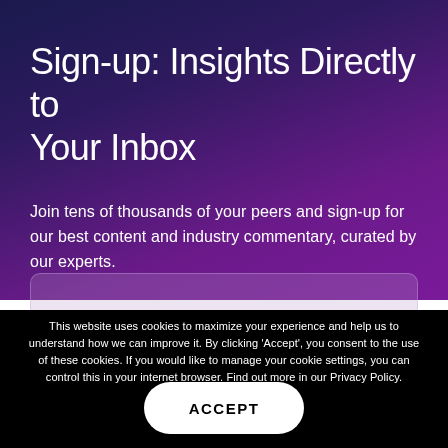Sign-up: Insights Directly to Your Inbox
Join tens of thousands of your peers and sign-up for our best content and industry commentary, curated by our experts.
This website uses cookies to maximize your experience and help us to understand how we can improve it. By clicking 'Accept', you consent to the use of these cookies. If you would like to manage your cookie settings, you can control this in your internet browser. Find out more in our Privacy Policy.
ACCEPT